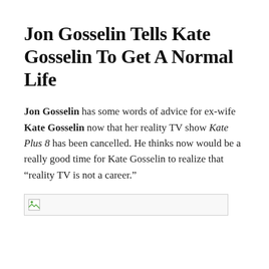Jon Gosselin Tells Kate Gosselin To Get A Normal Life
Jon Gosselin has some words of advice for ex-wife Kate Gosselin now that her reality TV show Kate Plus 8 has been cancelled. He thinks now would be a really good time for Kate Gosselin to realize that “reality TV is not a career.”
[Figure (photo): Broken image placeholder with small image icon in upper left corner, bordered box]